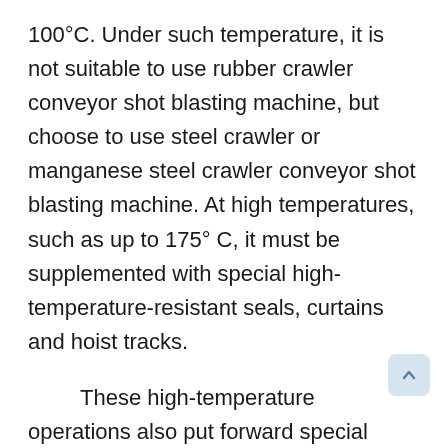100°C. Under such temperature, it is not suitable to use rubber crawler conveyor shot blasting machine, but choose to use steel crawler or manganese steel crawler conveyor shot blasting machine. At high temperatures, such as up to 175° C, it must be supplemented with special high-temperature-resistant seals, curtains and hoist tracks.
These high-temperature operations also put forward special requirements for equipment maintenance. Hot parts, hot machines and hot abrasives are a challenge to equipment maintenance and operational safety. Under such production conditions, bearing lubrication, conveyor belt design, and fragility Material composition, ventilation and control systems often need to be